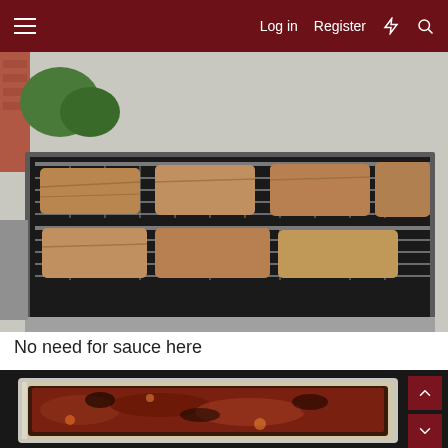Log in  Register
[Figure (photo): BBQ smoker with multiple racks loaded with meat wrapped in butcher paper, viewed with open lid showing two tiers of wrapped briskets or ribs in a large outdoor smoker]
No need for sauce here
[Figure (photo): Cooked BBQ ribs or brisket in a metal baking pan, showing deeply caramelized dark bark with reddish-brown color, indicating no sauce needed]